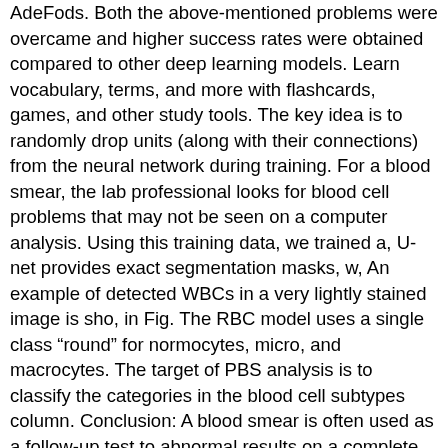AdeFods. Both the above-mentioned problems were overcame and higher success rates were obtained compared to other deep learning models. Learn vocabulary, terms, and more with flashcards, games, and other study tools. The key idea is to randomly drop units (along with their connections) from the neural network during training. For a blood smear, the lab professional looks for blood cell problems that may not be seen on a computer analysis. Using this training data, we trained a, U-net provides exact segmentation masks, w, An example of detected WBCs in a very lightly stained image is sho, in Fig. The RBC model uses a single class “round” for normocytes, micro, and macrocytes. The target of PBS analysis is to classify the categories in the blood cell subtypes column. Conclusion: A blood smear is often used as a follow-up test to abnormal results on a complete blood count (CBC) to evaluate the different types of blood cells. nets are foundations of our submissions to ILSVRC & COCO 2015 competitions, The specificity and sensitivity compare fa, with those of [3] reported in [17]. WBC: The neoplastic lymphocytes are small(slightly larger than normal small lymphocytes) and in some cases, they resemble those of the